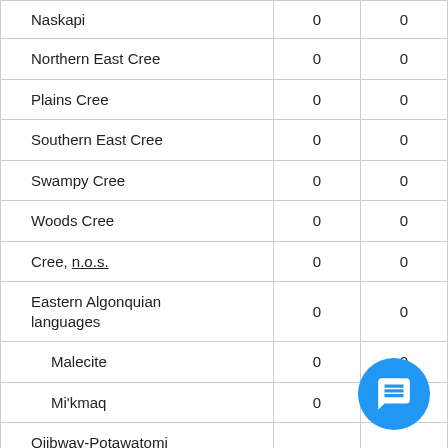| Language | Col1 | Col2 |
| --- | --- | --- |
| Naskapi | 0 | 0 |
| Northern East Cree | 0 | 0 |
| Plains Cree | 0 | 0 |
| Southern East Cree | 0 | 0 |
| Swampy Cree | 0 | 0 |
| Woods Cree | 0 | 0 |
| Cree, n.o.s. | 0 | 0 |
| Eastern Algonquian languages | 0 | 0 |
| Malecite | 0 | 0 |
| Mi'kmaq | 0 | 0 |
| Ojibway-Potawatomi languages | 0 | 0 |
| Algonquin | 0 | 0 |